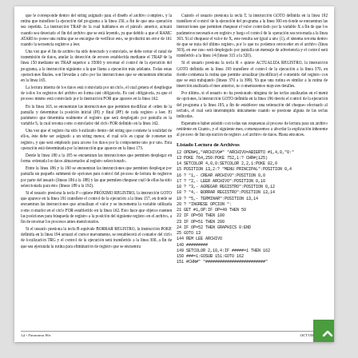Left column body text about file reading program, TRAP instruction, FOR loop control, register display and file handling routines in Spanish.
Right column body text continuing explanation of program execution, GOTO instructions, register updating, and program flow control in Spanish.
Listado Lectura de Archivos
Code listing for file reading in BASIC
54 - Panorama 80s    OCTUBRE 1988